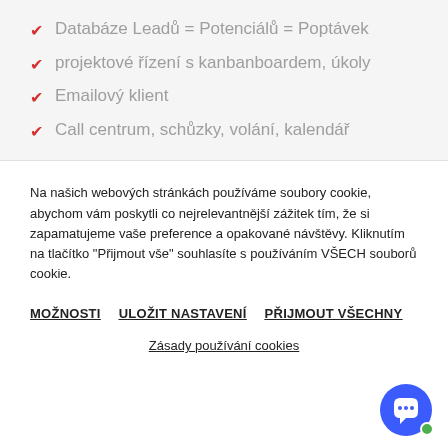Databáze Leadů = Potenciálů = Poptávek
projektové řízení s kanbanboardem, úkoly
Emailový klient
Call centrum, schůzky, volání, kalendář
Na našich webových stránkách používáme soubory cookie, abychom vám poskytli co nejrelevantnější zážitek tím, že si zapamatujeme vaše preference a opakované návštěvy. Kliknutím na tlačítko "Přijmout vše" souhlasíte s používáním VŠECH souborů cookie.
MOŽNOSTI   ULOŽIT NASTAVENÍ   PŘIJMOUT VŠECHNY
Zásady používání cookies